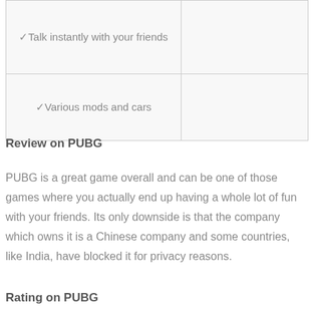| ✓Talk instantly with your friends |  |
| ✓Various mods and cars |  |
Review on PUBG
PUBG is a great game overall and can be one of those games where you actually end up having a whole lot of fun with your friends. Its only downside is that the company which owns it is a Chinese company and some countries, like India, have blocked it for privacy reasons.
Rating on PUBG